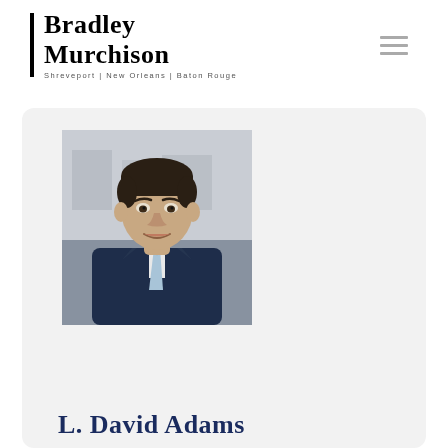[Figure (logo): Bradley Murchison law firm logo with vertical bar and firm name. Subtext: Shreveport | New Orleans | Baton Rouge]
[Figure (photo): Professional headshot of L. David Adams, a young man in a dark navy suit and light blue tie, smiling, photographed in an office setting]
L. David Adams